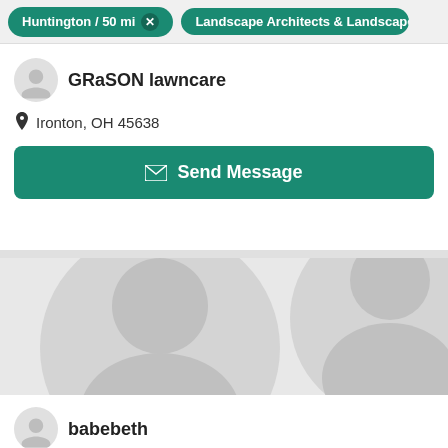Huntington / 50 mi  Landscape Architects & Landscape De
GRaSON lawncare
Ironton, OH 45638
Send Message
[Figure (illustration): Large placeholder avatar graphic with grey silhouette on light grey background]
babebeth